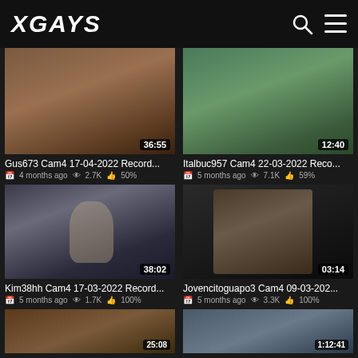XGAYS
[Figure (screenshot): Video thumbnail for Gus673 Cam4 17-04-2022 Record... with duration 36:55]
Gus673 Cam4 17-04-2022 Record...
4 months ago  2.7K  50%
[Figure (screenshot): Video thumbnail for Italbuc957 Cam4 22-03-2022 Reco... with duration 12:40]
Italbuc957 Cam4 22-03-2022 Reco...
5 months ago  7.1K  59%
[Figure (screenshot): Video thumbnail for Kim38hh Cam4 17-03-2022 Record... with duration 38:02]
Kim38hh Cam4 17-03-2022 Record...
5 months ago  1.7K  100%
[Figure (screenshot): Video thumbnail for Jovencitoguapo3 Cam4 09-03-202... with duration 03:14]
Jovencitoguapo3 Cam4 09-03-202...
5 months ago  3.3K  100%
[Figure (screenshot): Partial video thumbnail with duration 25:08]
[Figure (screenshot): Partial video thumbnail with duration 1:12:41]